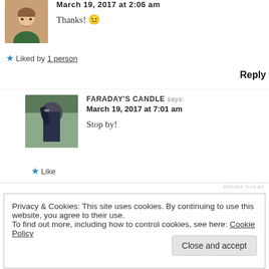March 19, 2017 at 2:06 am
Thanks! 🙂
★ Liked by 1 person
Reply
FARADAY'S CANDLE says: March 19, 2017 at 7:01 am
Stop by!
★ Like
REPORT THIS AD
Privacy & Cookies: This site uses cookies. By continuing to use this website, you agree to their use.
To find out more, including how to control cookies, see here: Cookie Policy
Close and accept
DANIELA SORIANO says: March 16, 2017 at 10:21 am
You hair looks soooo good!